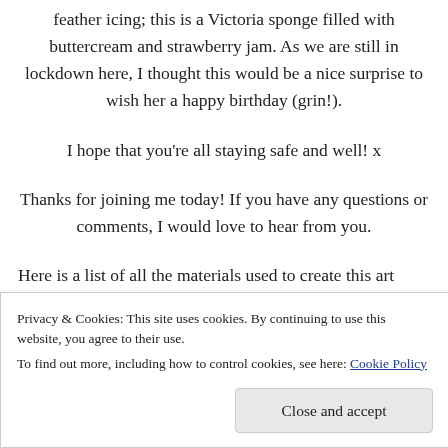feather icing; this is a Victoria sponge filled with buttercream and strawberry jam. As we are still in lockdown here, I thought this would be a nice surprise to wish her a happy birthday (grin!).
I hope that you're all staying safe and well! x
Thanks for joining me today! If you have any questions or comments, I would love to hear from you.
Here is a list of all the materials used to create this art
Privacy & Cookies: This site uses cookies. By continuing to use this website, you agree to their use.
To find out more, including how to control cookies, see here: Cookie Policy
Close and accept
Tim Holtz Distress Archival Ink (Vintage Photo,